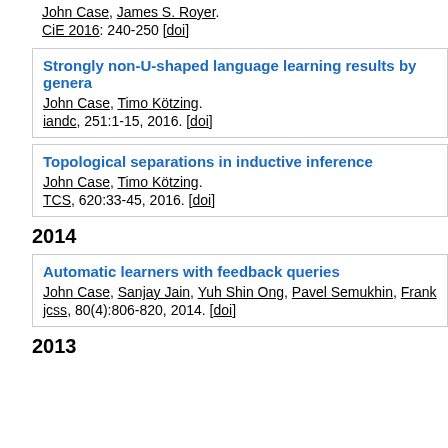John Case, James S. Royer.
CiE 2016: 240-250 [doi]
Strongly non-U-shaped language learning results by genera
John Case, Timo Kötzing.
iandc, 251:1-15, 2016. [doi]
Topological separations in inductive inference
John Case, Timo Kötzing.
TCS, 620:33-45, 2016. [doi]
2014
Automatic learners with feedback queries
John Case, Sanjay Jain, Yuh Shin Ong, Pavel Semukhin, Frank
jcss, 80(4):806-820, 2014. [doi]
2013